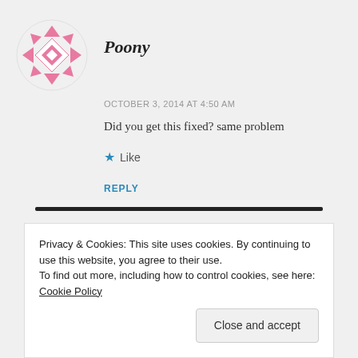[Figure (illustration): Pink geometric quilt-pattern avatar icon in a circle — a diamond/star pattern made of pink and white triangles]
Poony
OCTOBER 3, 2014 AT 4:50 AM
Did you get this fixed? same problem
★ Like
REPLY
Privacy & Cookies: This site uses cookies. By continuing to use this website, you agree to their use.
To find out more, including how to control cookies, see here: Cookie Policy
Close and accept